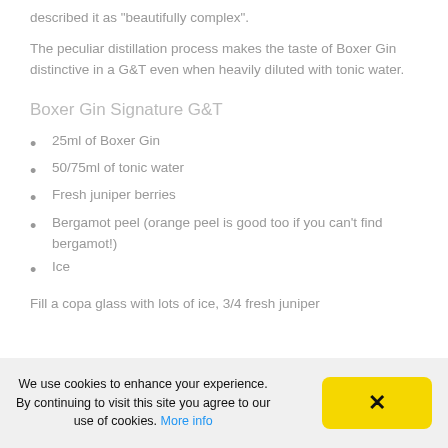described it as “beautifully complex”.
The peculiar distillation process makes the taste of Boxer Gin distinctive in a G&T even when heavily diluted with tonic water.
Boxer Gin Signature G&T
25ml of Boxer Gin
50/75ml of tonic water
Fresh juniper berries
Bergamot peel (orange peel is good too if you can't find bergamot!)
Ice
Fill a copa glass with lots of ice, 3/4 fresh juniper
We use cookies to enhance your experience. By continuing to visit this site you agree to our use of cookies. More info